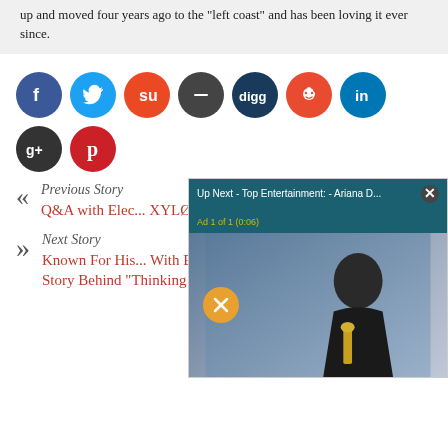up and moved four years ago to the 'left coast' and has been loving it ever since.
[Figure (infographic): Social media share buttons: Facebook (blue), Twitter (blue), StumbleUpon (orange), minus/dash button (dark gray), Digg (navy), Reddit (red), LinkedIn (blue), Google+ (dark gray), Pinterest (red)]
Previous Story
Q&A with Elec... XYLØ – Talk M... More!
Next Story
Known For His... With ED SHEE... GOSLING Reveals The Story Behind "Thinking Out Loud" And Much More!
[Figure (screenshot): Ad overlay: 'Up Next - Top Entertainment: - Ariana D...' with close button X, 'Ad 1 of 1 (0:06)' yellow label, mute button, photo of a woman in black dress holding an Oscar trophy]